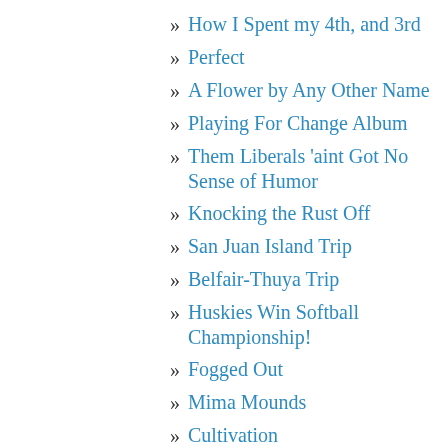» How I Spent my 4th, and 3rd
» Perfect
» A Flower by Any Other Name
» Playing For Change Album
» Them Liberals 'aint Got No Sense of Humor
» Knocking the Rust Off
» San Juan Island Trip
» Belfair-Thuya Trip
» Huskies Win Softball Championship!
» Fogged Out
» Mima Mounds
» Cultivation
» Retreating to My Shell
» Spring Storm on the Coast
» More than Rhodies